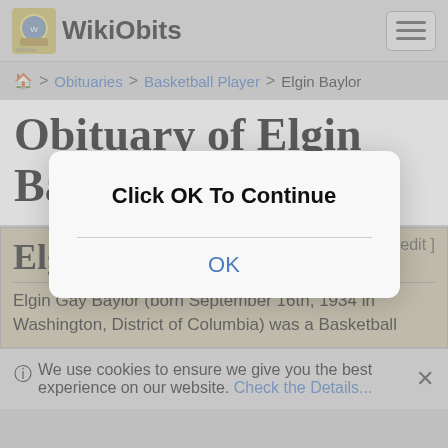WikiObits
Obituaries > Basketball Player > Elgin Baylor
Obituary of Elgin Baylor
Elgin Baylor
Elgin Gay Baylor (born September 16th, 1934 in Washington, District of Columbia) was a Basketball
[Figure (screenshot): Modal dialog with text 'Click OK To Continue' and an OK button]
We use cookies to ensure we give you the best experience on our website. Check the Details...